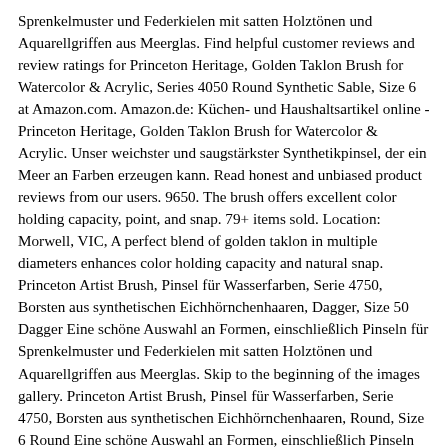Sprenkelmuster und Federkielen mit satten Holztönen und Aquarellgriffen aus Meerglas. Find helpful customer reviews and review ratings for Princeton Heritage, Golden Taklon Brush for Watercolor & Acrylic, Series 4050 Round Synthetic Sable, Size 6 at Amazon.com. Amazon.de: Küchen- und Haushaltsartikel online - Princeton Heritage, Golden Taklon Brush for Watercolor & Acrylic. Unser weichster und saugstärkster Synthetikpinsel, der ein Meer an Farben erzeugen kann. Read honest and unbiased product reviews from our users. 9650. The brush offers excellent color holding capacity, point, and snap. 79+ items sold. Location: Morwell, VIC, A perfect blend of golden taklon in multiple diameters enhances color holding capacity and natural snap. Princeton Artist Brush, Pinsel für Wasserfarben, Serie 4750, Borsten aus synthetischen Eichhörnchenhaaren, Dagger, Size 50 Dagger Eine schöne Auswahl an Formen, einschließlich Pinseln für Sprenkelmuster und Federkielen mit satten Holztönen und Aquarellgriffen aus Meerglas. Skip to the beginning of the images gallery. Princeton Artist Brush, Pinsel für Wasserfarben, Serie 4750, Borsten aus synthetischen Eichhörnchenhaaren, Round, Size 6 Round Eine schöne Auswahl an Formen, einschließlich Pinseln für Sprenkelmuster und Federkielen mit satten Holztönen und Aquarellgriffen aus Meerglas. This is the Princeton Brush flagship watercolor brush. Unser weichster und saugstärkster Synthetikpinsel, der ein Meer an Farben erzeugen kann. Read honest and unbiased product reviews from our users. Princeton